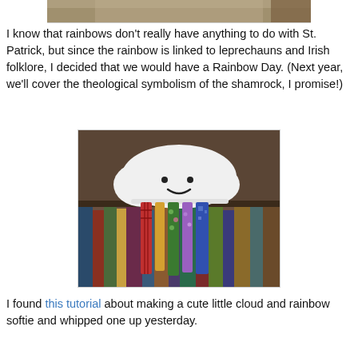[Figure (photo): Partial photo at top of page, cropped — appears to be a colorful image]
I know that rainbows don't really have anything to do with St. Patrick, but since the rainbow is linked to leprechauns and Irish folklore, I decided that we would have a Rainbow Day. (Next year, we'll cover the theological symbolism of the shamrock, I promise!)
[Figure (photo): A white cloud-shaped stuffed animal (softie/plushie) with a smiling face, hanging fabric strips in rainbow colors (red plaid, yellow, green floral, purple, blue) draped below it like rain, sitting on a shelf in front of books.]
I found this tutorial about making a cute little cloud and rainbow softie and whipped one up yesterday.